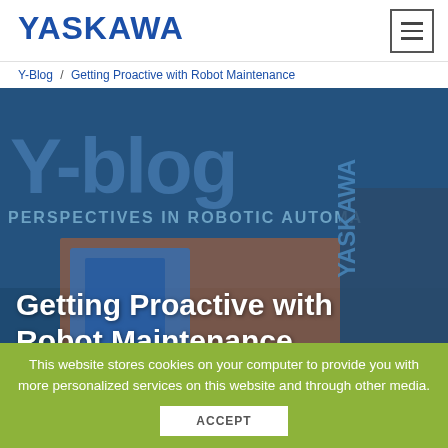YASKAWA
Y-Blog / Getting Proactive with Robot Maintenance
[Figure (photo): Y-blog hero image showing robotic automation equipment with text overlay 'Getting Proactive with Robot Maintenance'. Background shows printed Y-Blog branding with 'PERSPECTIVES IN ROBOTIC AUTOMATION' text and Yaskawa robot arms.]
Getting Proactive with Robot Maintenance
This website stores cookies on your computer to provide you with more personalized services on this website and through other media.
ACCEPT